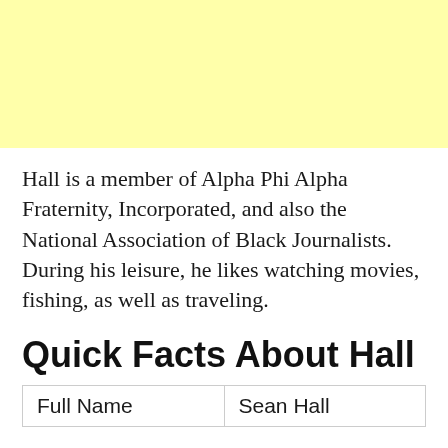[Figure (other): Yellow background block at the top of the page]
Hall is a member of Alpha Phi Alpha Fraternity, Incorporated, and also the National Association of Black Journalists. During his leisure, he likes watching movies, fishing, as well as traveling.
Quick Facts About Hall
| Full Name | Sean Hall |
| --- | --- |